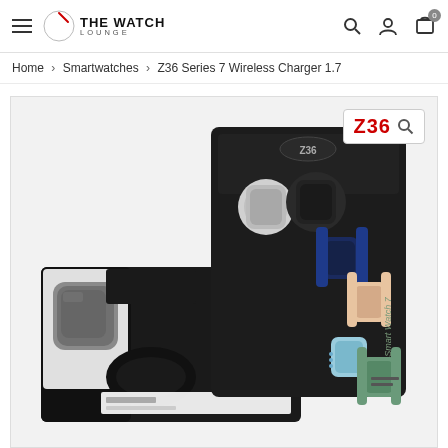THE WATCH LOUNGE — navigation bar with hamburger menu, logo, search, account, and cart icons
Home > Smartwatches > Z36 Series 7 Wireless Charger 1.7
[Figure (photo): Product photo of Z36 Smart Watch 7 packaging — a black box opened showing the smartwatch with various color band variants (silver, dark, navy blue, peach/pink, light blue, green) displayed on the box art. The opened box shows the grey smartwatch body and a black strap. A white search badge with 'Z36' in red text and a magnifier icon appears in the top-right corner of the image.]